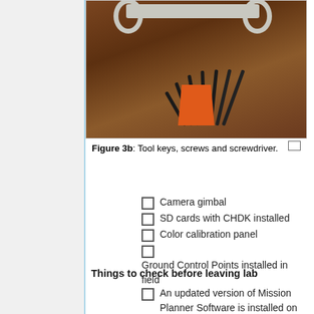[Figure (photo): Photo of tool keys (allen keys/hex keys) held together by an orange holder, with a wrench visible at the top, all on a wooden surface.]
Figure 3b: Tool keys, screws and screwdriver.
Camera gimbal
SD cards with CHDK installed
Color calibration panel
Ground Control Points installed in field
Things to check before leaving lab
An updated version of Mission Planner Software is installed on